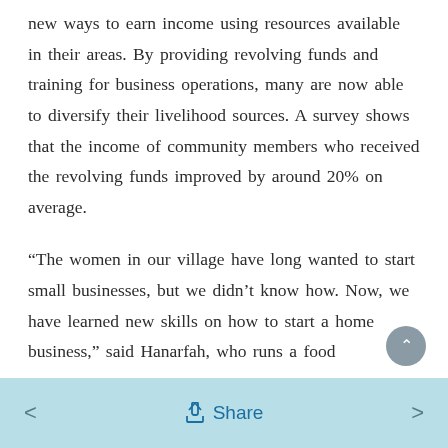new ways to earn income using resources available in their areas. By providing revolving funds and training for business operations, many are now able to diversify their livelihood sources. A survey shows that the income of community members who received the revolving funds improved by around 20% on average.
“The women in our village have long wanted to start small businesses, but we didn’t know how. Now, we have learned new skills on how to start a home business,” said Hanarfah, who runs a food
< Share >